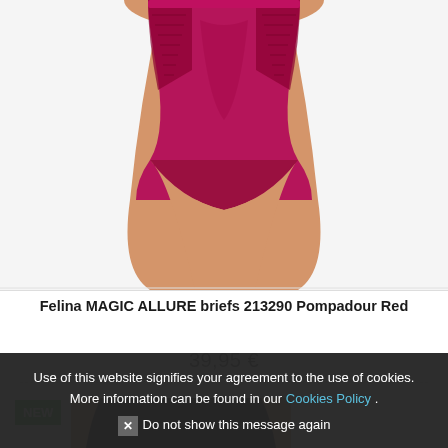[Figure (photo): Product photo of Felina MAGIC ALLURE briefs in Pompadour Red — high-waist red/magenta briefs with lace side panels, worn on a female model, cropped from waist to thighs, white background.]
Felina MAGIC ALLURE briefs 213290 Pompadour Red
39,95 €
[Figure (photo): Partial product photo of another item with a green NEW badge. Shows dark/black briefs on a model, partially cropped at bottom of page.]
Use of this website signifies your agreement to the use of cookies. More information can be found in our Cookies Policy . ✕ Do not show this message again